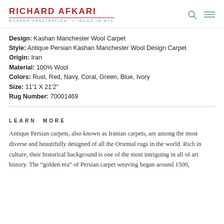RICHARD AFKARI | WEAVER FASCINATION + RUGS IN NYC
Design: Kashan Manchester Wool Carpet
Style: Antique Persian Kashan Manchester Wool Design Carpet
Origin: Iran
Material: 100% Wool
Colors: Rust, Red, Navy, Coral, Green, Blue, Ivory
Size: 11'1 X 21'2"
Rug Number: 70001469
LEARN MORE
Antique Persian carpets, also known as Iranian carpets, are among the most diverse and beautifully designed of all the Oriental rugs in the world. Rich in culture, their historical background is one of the most intriguing in all of art history. The “golden era” of Persian carpet weaving began around 1500,